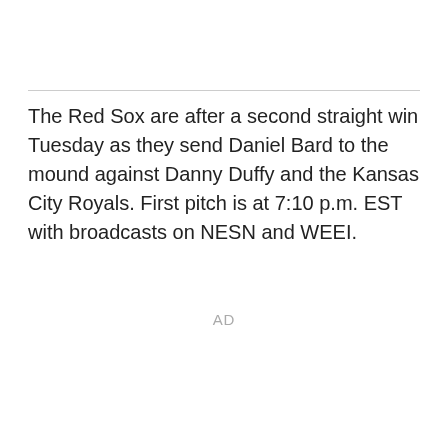The Red Sox are after a second straight win Tuesday as they send Daniel Bard to the mound against Danny Duffy and the Kansas City Royals. First pitch is at 7:10 p.m. EST with broadcasts on NESN and WEEI.